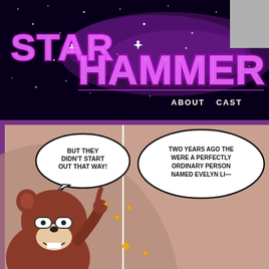[Figure (screenshot): StarHammer webcomic website header with galaxy/space background. Large glowing purple neon text reads 'STAR HAMMER' with stylized logo. Navigation bar shows 'ABOUT' and 'CAST' links in white. A gray box is in the upper right corner.]
[Figure (illustration): Comic panel with mauve/dusty rose background. An anthropomorphic brown bear/rodent character with glasses and a big smile points upward with one finger. Stars sparkle around the character's hand. Two speech bubbles: first says 'BUT THEY DIDN'T START OUT THAT WAY!' and second says 'TWO YEARS AGO THE WERE A PERFECTLY ORDINARY PERSON NAMED EVELYN LI-']